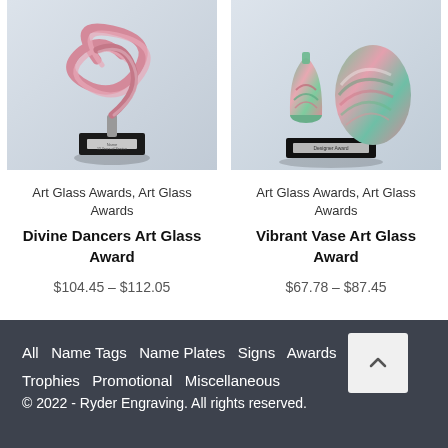[Figure (photo): Art glass award - Divine Dancers Art Glass Award, pink swirl ribbon sculpture on black base]
Art Glass Awards, Art Glass Awards
Divine Dancers Art Glass Award
$104.45 – $112.05
[Figure (photo): Art glass award - Vibrant Vase Art Glass Award, green and pink swirled glass with decorative egg, on black base]
Art Glass Awards, Art Glass Awards
Vibrant Vase Art Glass Award
$67.78 – $87.45
All  Name Tags  Name Plates  Signs  Awards  Plaques  Trophies  Promotional  Miscellaneous  © 2022 - Ryder Engraving. All rights reserved.